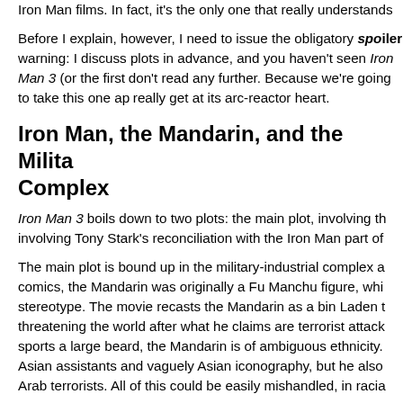Iron Man films. In fact, it's the only one that really understands
Before I explain, however, I need to issue the obligatory spoiler warning: I discuss plots in advance, and you haven't seen Iron Man 3 (or the first two films), don't read any further. Because we're going to take this one apart to really get at its arc-reactor heart.
Iron Man, the Mandarin, and the Military-Industrial Complex
Iron Man 3 boils down to two plots: the main plot, involving the Mandarin, and a subplot involving Tony Stark's reconciliation with the Iron Man part of his identity.
The main plot is bound up in the military-industrial complex and race. In the original comics, the Mandarin was originally a Fu Manchu figure, which is a Chinese racist stereotype. The movie recasts the Mandarin as a bin Laden type — a terrorist threatening the world after what he claims are terrorist attacks. He sports a large beard, the Mandarin is of ambiguous ethnicity. He surrounds himself with Asian assistants and vaguely Asian iconography, but he also evokes stereotypes of Arab terrorists. All of this could be easily mishandled, in racial